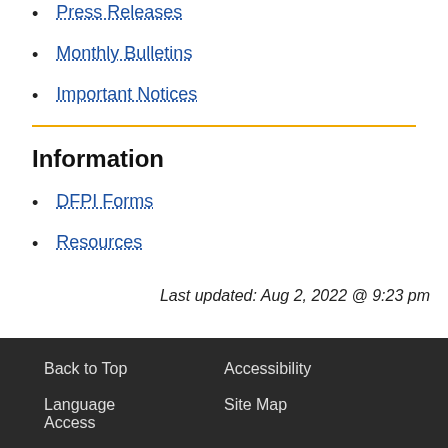Press Releases
Monthly Bulletins
Important Notices
Information
DFPI Forms
Resources
Last updated: Aug 2, 2022 @ 9:23 pm
Back to Top  Accessibility  Language Access  Site Map